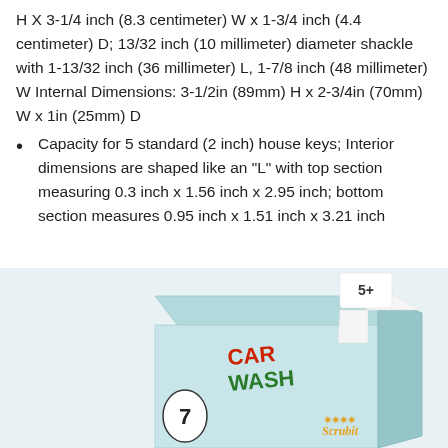H X 3-1/4 inch (8.3 centimeter) W x 1-3/4 inch (4.4 centimeter) D; 13/32 inch (10 millimeter) diameter shackle with 1-13/32 inch (36 millimeter) L, 1-7/8 inch (48 millimeter) W Internal Dimensions: 3-1/2in (89mm) H x 2-3/4in (70mm) W x 1in (25mm) D
Capacity for 5 standard (2 inch) house keys; Interior dimensions are shaped like an "L" with top section measuring 0.3 inch x 1.56 inch x 2.95 inch; bottom section measures 0.95 inch x 1.51 inch x 3.21 inch
[Figure (photo): Product box for Scrubit car wash kit, light teal/mint colored box with 'CAR WASH' text in red and green, number 7 on the left side, Scrubit logo on the right side, shown at an angle]